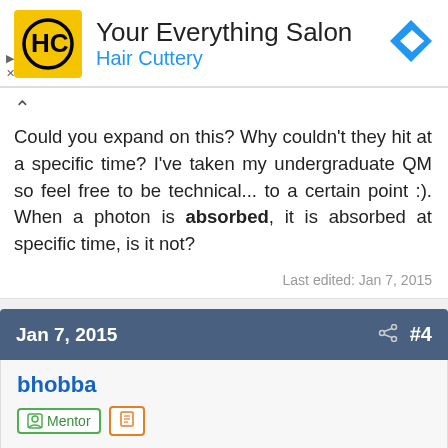[Figure (advertisement): Hair Cuttery advertisement banner with yellow logo showing HC initials, title 'Your Everything Salon', subtitle 'Hair Cuttery', and a blue directional arrow icon on the right.]
Could you expand on this? Why couldn't they hit at a specific time? I've taken my undergraduate QM so feel free to be technical... to a certain point :). When a photon is absorbed, it is absorbed at specific time, is it not?
Last edited: Jan 7, 2015
Jan 7, 2015  #4
bhobba
Mentor